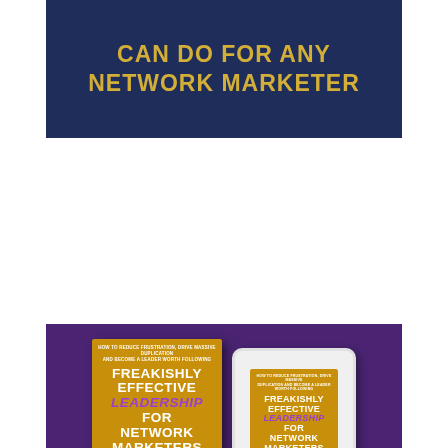CAN DO FOR ANY NETWORK MARKETER
[Figure (illustration): Book promotion image showing a physical copy and tablet display of 'Freakishly Effective Leadership for Network Marketers' by Ray Higdon, on a purple background, with a light blue bottom section showing 'NEW BOOK' text, the book title, and 'GET IT NOW' call to action.]